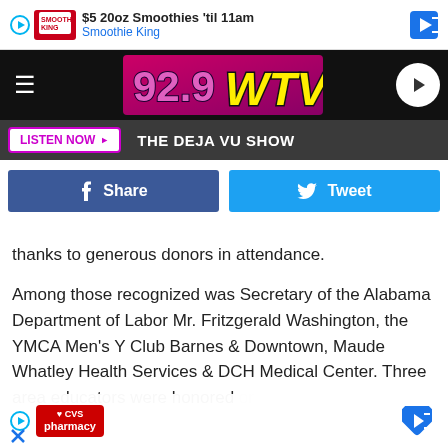[Figure (screenshot): Advertisement banner for Smoothie King: '$5 20oz Smoothies til 11am, Smoothie King']
[Figure (logo): 92.9 WTVG radio station logo with pink/purple background and yellow/black lettering]
LISTEN NOW  THE DEJA VU SHOW
[Figure (infographic): Share on Facebook button (dark blue) and Tweet button (light blue)]
thanks to generous donors in attendance.
Among those recognized was Secretary of the Alabama Department of Labor Mr. Fritzgerald Washington, the YMCA Men's Y Club Barnes & Downtown, Maude Whatley Health Services & DCH Medical Center. Three area educators were honored or
[Figure (screenshot): CVS Pharmacy advertisement overlay at bottom of screen]